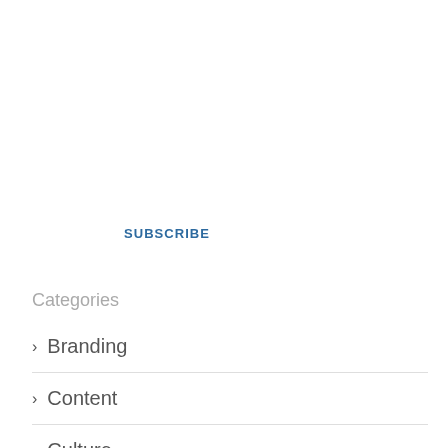SUBSCRIBE
Categories
> Branding
> Content
> Culture